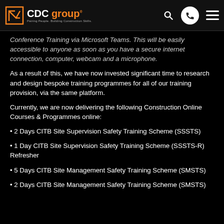CDC group — Pairing People, Building Construction Skills
Conference Training via Microsoft Teams. This will be easily accessible to anyone as soon as you have a secure internet connection, computer, webcam and a microphone.
As a result of this, we have now invested significant time to research and design bespoke training programmes for all of our training provision, via the same platform.
Currently, we are now delivering the following Construction Online Courses & Programmes online:
2 Days CITB Site Supervision Safety Training Scheme (SSSTS)
1 Day CITB Site Supervision Safety Training Scheme (SSSTS-R) Refresher
5 Days CITB Site Management Safety Training Scheme (SMSTS)
2 Days CITB Site Management Safety Training Scheme (SMSTS)